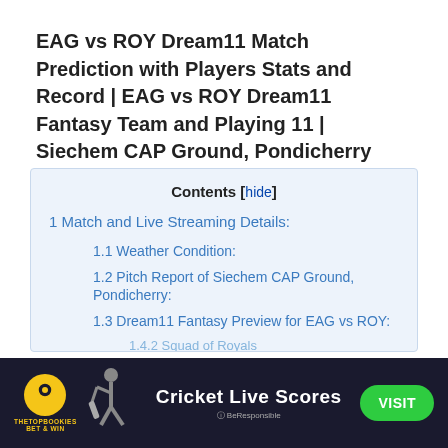EAG vs ROY Dream11 Match Prediction with Players Stats and Record | EAG vs ROY Dream11 Fantasy Team and Playing 11 | Siechem CAP Ground, Pondicherry Pitch Report
1 Match and Live Streaming Details:
1.1 Weather Condition:
1.2 Pitch Report of Siechem CAP Ground, Pondicherry:
1.3 Dream11 Fantasy Preview for EAG vs ROY:
1.4.2 Squad of Royals
[Figure (other): Advertisement banner for The Top Bookies showing Cricket Live Scores with a VISIT button]